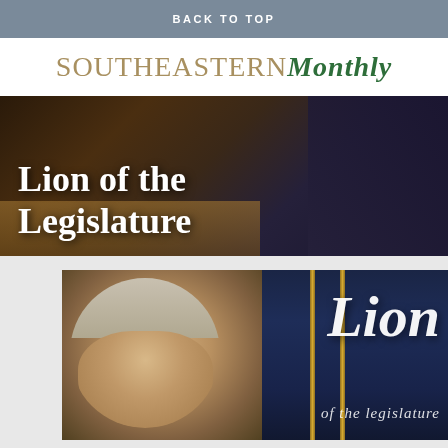BACK TO TOP
SOUTHEASTERN Monthly
[Figure (photo): Dark photo of figures at a desk or table, with the text 'Lion of the Legislature' overlaid in white serif font]
[Figure (photo): Photo of an older man with gray hair in the foreground, with dark navy curtains and gold poles in the background, overlaid with a large italic script 'Lion' and smaller text 'of the legislature']
Follow ...